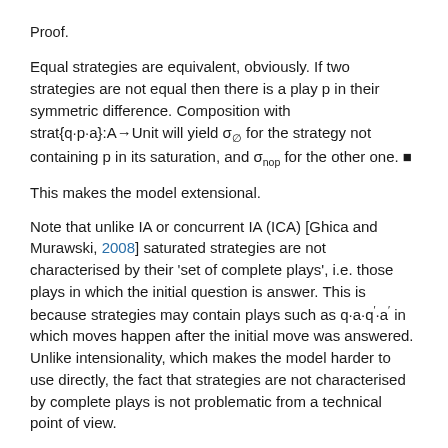Proof.
Equal strategies are equivalent, obviously. If two strategies are not equal then there is a play p in their symmetric difference. Composition with strat{q·p·a}:A→Unit will yield σ_∅ for the strategy not containing p in its saturation, and σ_nop for the other one. ■
This makes the model extensional.
Note that unlike IA or concurrent IA (ICA) [Ghica and Murawski, 2008] saturated strategies are not characterised by their 'set of complete plays', i.e. those plays in which the initial question is answer. This is because strategies may contain plays such as q·a·q′·a′ in which moves happen after the initial move was answered. Unlike intensionality, which makes the model harder to use directly, the fact that strategies are not characterised by complete plays is not problematic from a technical point of view.
We are now ready to address the question of definability: what syntax do we need so that any strategy, or rather its saturated version, is the denotation of some term. We will follow the definability procedure of ICA, since the two